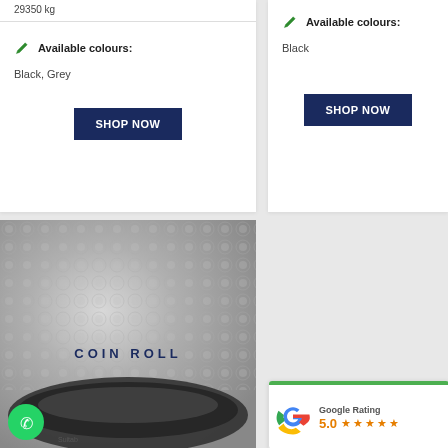29350 kg
Available colours:
Black, Grey
SHOP NOW
Available colours:
Black
SHOP NOW
[Figure (photo): Coin roll rubber matting product photo showing grey textured coin pattern surface with a rolled edge. Text 'COIN ROLL' overlaid. WhatsApp icon in bottom left. Partial text 'Suitable' at bottom.]
Google Rating
5.0 ★★★★★